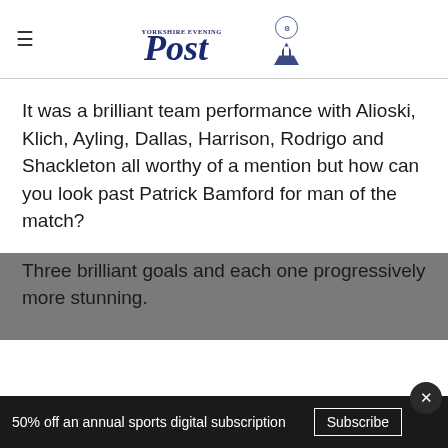Yorkshire Evening Post
It was a brilliant team performance with Alioski, Klich, Ayling, Dallas, Harrison, Rodrigo and Shackleton all worthy of a mention but how can you look past Patrick Bamford for man of the match?
Three brilliant goals and each one progressively more stunning.
50% off an annual sports digital subscription  Subscribe